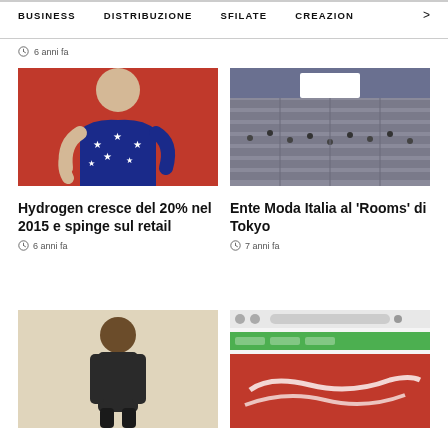BUSINESS   DISTRIBUZIONE   SFILATE   CREAZION  >
6 anni fa
[Figure (photo): Man wearing navy blue t-shirt with white stars pattern, red background]
[Figure (photo): Aerial view of a crowded trade show or expo hall]
Hydrogen cresce del 20% nel 2015 e spinge sul retail
6 anni fa
Ente Moda Italia al 'Rooms' di Tokyo
7 anni fa
[Figure (photo): Athlete or person standing in beige/tan setting]
[Figure (screenshot): Website screenshot with green navigation bar]